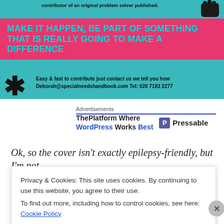[Figure (infographic): Teal banner with pink bar reading 'MAKE IT HAPPEN, BE PART OF SOMETHING THAT IS REALLY GOING TO MAKE A DIFFERENCE'. Top text about contributing to original problem solver. Bottom section with asterisk icon and contact details: Deborah@specialneedshandbook.com Tel: 020 7183 2277]
Advertisements
ThePlatform Where WordPress Works Best  Pressable
Ok, so the cover isn't exactly epilepsy-friendly, but I'm not sure this is how it'll end up. Anyway, shut up. It's going to
Privacy & Cookies: This site uses cookies. By continuing to use this website, you agree to their use.
To find out more, including how to control cookies, see here: Cookie Policy
Close and accept